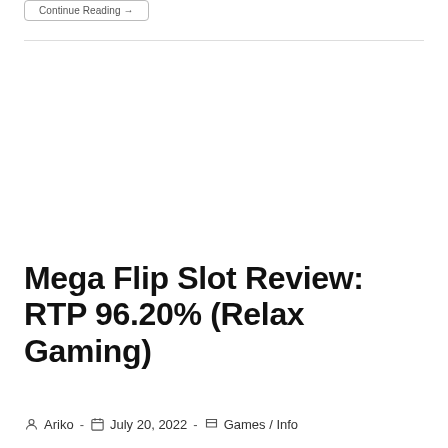Continue Reading →
Mega Flip Slot Review: RTP 96.20% (Relax Gaming)
Post author: Ariko - Post date: July 20, 2022 - Post category: Games / Info